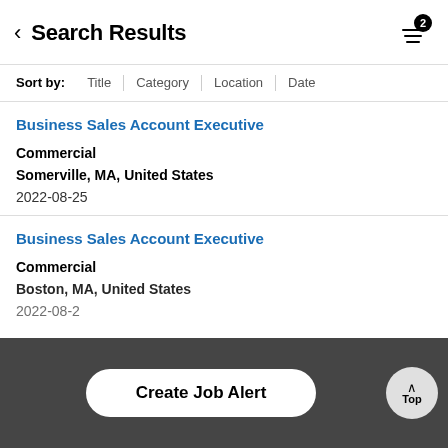Search Results
Sort by: Title | Category | Location | Date
Business Sales Account Executive
Commercial
Somerville, MA, United States
2022-08-25
Business Sales Account Executive
Commercial
Boston, MA, United States
2022-08-2
Create Job Alert